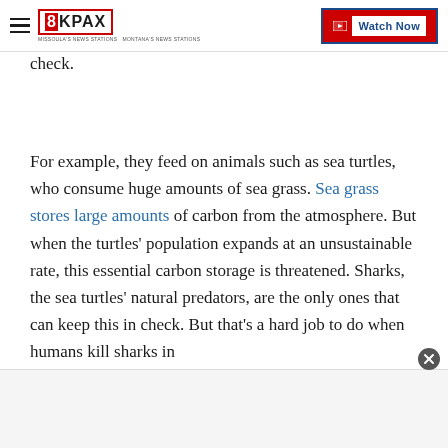8KPAX | Watch Now
check.
For example, they feed on animals such as sea turtles, who consume huge amounts of sea grass. Sea grass stores large amounts of carbon from the atmosphere. But when the turtles' population expands at an unsustainable rate, this essential carbon storage is threatened. Sharks, the sea turtles' natural predators, are the only ones that can keep this in check. But that's a hard job to do when humans kill sharks in